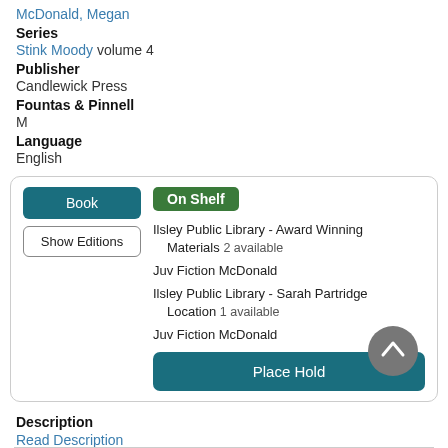McDonald, Megan
Series
Stink Moody volume 4
Publisher
Candlewick Press
Fountas & Pinnell
M
Language
English
Book | Show Editions | On Shelf | Ilsley Public Library - Award Winning Materials  2 available | Juv Fiction McDonald | Ilsley Public Library - Sarah Partridge Location  1 available | Juv Fiction McDonald | Place Hold
Description
Read Description
More Info  Add to list